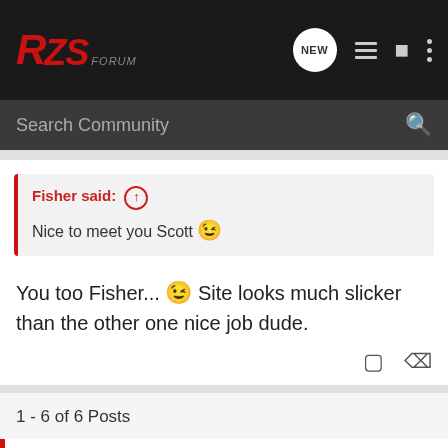RZS Forum
Search Community
Fisher said: ↑
Nice to meet you Scott 😉
You too Fisher... 😉 Site looks much slicker than the other one nice job dude.
1 - 6 of 6 Posts
This is an older thread, you may not receive a response, and could be reviving an old thread. Please consider creating a new thread.